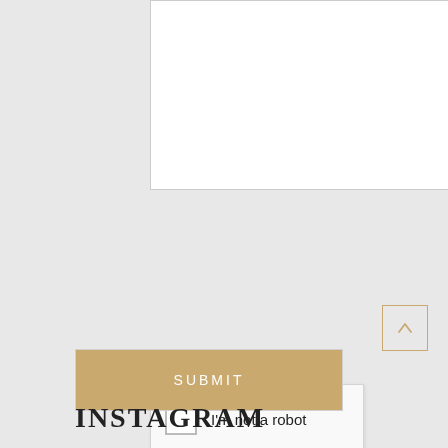[Figure (screenshot): White textarea input box with resize handle at bottom right corner]
[Figure (screenshot): reCAPTCHA widget showing checkbox with 'I'm not a robot' text, reCAPTCHA logo and branding with Privacy and Terms links]
SUBMIT
INSTAGRAM